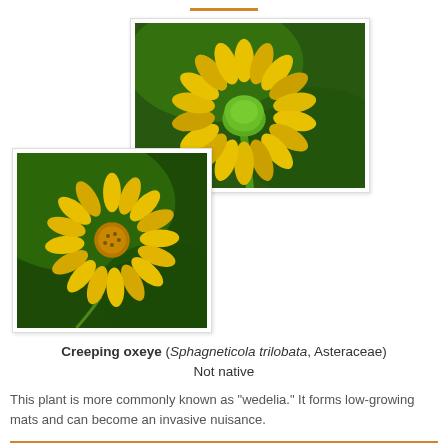[Figure (photo): Close-up photo of yellow daisy-like flower from behind showing green stem and involucre with yellow petals fanning out, dark green blurred background.]
[Figure (photo): Close-up photo of yellow daisy-like flower from the front showing bright yellow ray petals and orange-yellow disc florets in the center, dark green blurred background.]
Creeping oxeye (Sphagneticola trilobata, Asteraceae) Not native
This plant is more commonly known as "wedelia." It forms low-growing mats and can become an invasive nuisance.